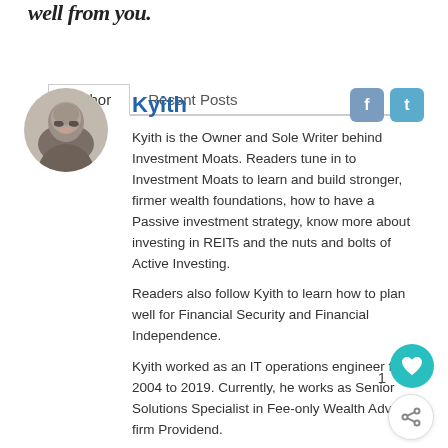well from you.
Author   Recent Posts
Kyith
Kyith is the Owner and Sole Writer behind Investment Moats. Readers tune in to Investment Moats to learn and build stronger, firmer wealth foundations, how to have a Passive investment strategy, know more about investing in REITs and the nuts and bolts of Active Investing.

Readers also follow Kyith to learn how to plan well for Financial Security and Financial Independence.

Kyith worked as an IT operations engineer from 2004 to 2019. Currently, he works as Senior Solutions Specialist in Fee-only Wealth Advisory firm Providend.